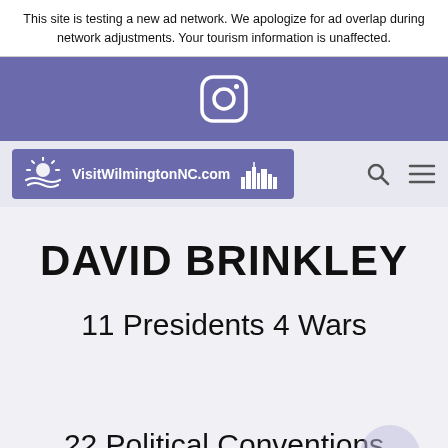This site is testing a new ad network. We apologize for ad overlap during network adjustments. Your tourism information is unaffected.
[Figure (logo): Instagram icon (camera outline with viewfinder circle) in white on a purple/indigo background banner]
[Figure (logo): VisitWilmingtonNC.com logo bar with sun over water icon on the left and city skyline silhouette on the right, white text on purple background, with search and hamburger menu icons to the right]
DAVID BRINKLEY
11 Presidents 4 Wars

22 Political Conventions